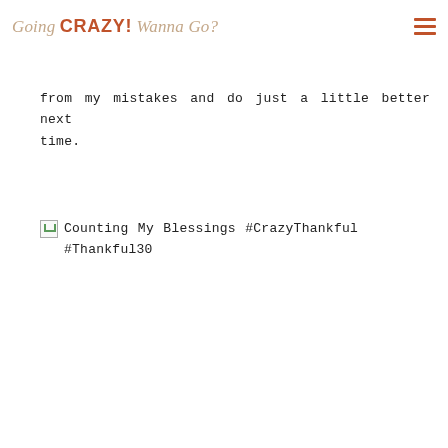Going CRAZY! Wanna Go?
from my mistakes and do just a little better next time.
[Figure (other): Broken image placeholder followed by text: Counting My Blessings #CrazyThankful #Thankful30]